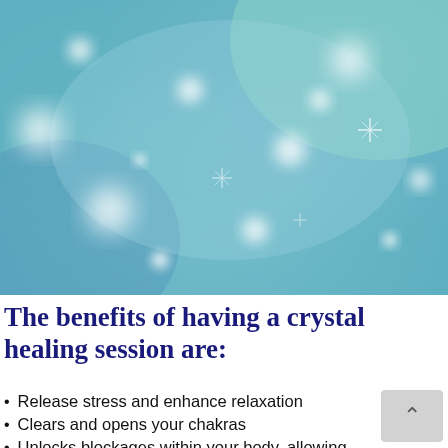[Figure (illustration): Abstract bokeh background image with teal and light blue gradient tones, featuring soft white glowing circular light orbs scattered across the composition, giving a serene, ethereal atmosphere.]
The benefits of having a crystal healing session are:
Release stress and enhance relaxation
Clears and opens your chakras
Unlocks blockages within your body, allowing any stagnant